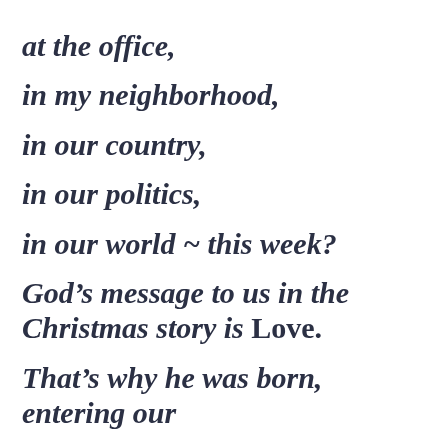at the office,
in my neighborhood,
in our country,
in our politics,
in our world  ~ this week?
God’s message to us in the Christmas story is Love.
That’s why he was born, entering our